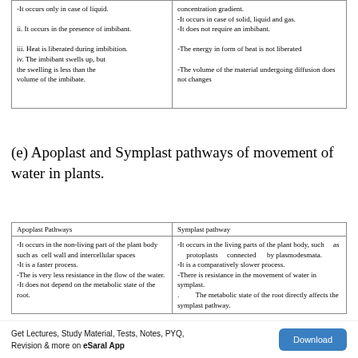| Imbibition (continued) | Diffusion (continued) |
| --- | --- |
| -It occurs only in case of liquid. | concentration gradient.
-It occurs in case of solid, liquid and gas.
-It does not require an imbibant. |
| ii. It occurs in the presence of imbibant. | -The energy in form of heat is not liberated |
| iii. Heat is liberated during imbibition.
iv. The imbibant swells up, but the swelling is less than the volume of the imbibate. | -The volume of the material undergoing diffusion does not changes |
(e) Apoplast and Symplast pathways of movement of water in plants.
| Apoplast Pathways | Symplast pathway |
| --- | --- |
| -It occurs in the non-living part of the plant body such as cell wall and intercellular spaces
-It is a faster process.
-The is very less resistance in the flow of the water.
-It does not depend on the metabolic state of the root. | -It occurs in the living parts of the plant body, such as protoplasts connected by plasmodesmata.
-It is a comparatively slower process.
-There is resistance in the movement of water in symplast.
. The metabolic state of the root directly affects the symplast pathway. |
Get Lectures, Study Material, Tests, Notes, PYQ, Revision & more on eSaral App
Download